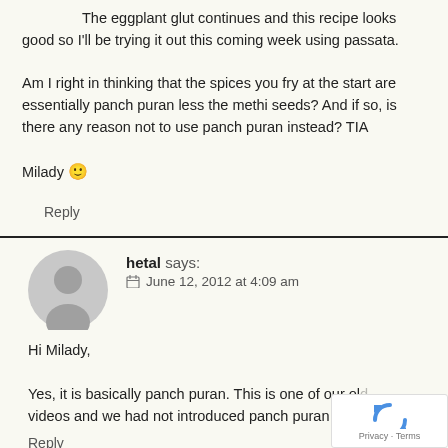The eggplant glut continues and this recipe looks good so I'll be trying it out this coming week using passata.

Am I right in thinking that the spices you fry at the start are essentially panch puran less the methi seeds? And if so, is there any reason not to use panch puran instead? TIA

Milady 🙂
Reply
hetal says:
June 12, 2012 at 4:09 am
Hi Milady,

Yes, it is basically panch puran. This is one of our ol... videos and we had not introduced panch puran yet...
Reply